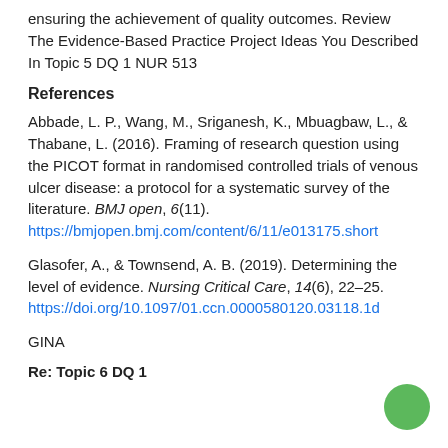ensuring the achievement of quality outcomes. Review The Evidence-Based Practice Project Ideas You Described In Topic 5 DQ 1 NUR 513
References
Abbade, L. P., Wang, M., Sriganesh, K., Mbuagbaw, L., & Thabane, L. (2016). Framing of research question using the PICOT format in randomised controlled trials of venous ulcer disease: a protocol for a systematic survey of the literature. BMJ open, 6(11). https://bmjopen.bmj.com/content/6/11/e013175.short
Glasofer, A., & Townsend, A. B. (2019). Determining the level of evidence. Nursing Critical Care, 14(6), 22–25. https://doi.org/10.1097/01.ccn.0000580120.03118.1d
GINA
Re: Topic 6 DQ 1